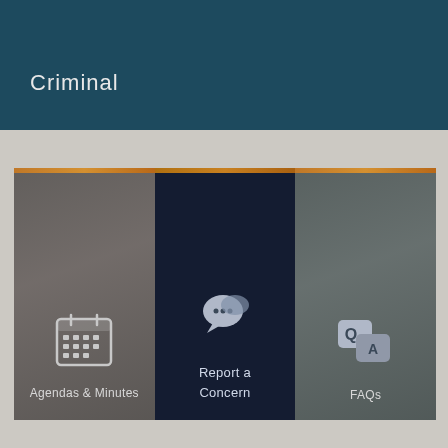Criminal
[Figure (infographic): Three navigation cards side by side: 'Agendas & Minutes' with calendar icon, 'Report a Concern' with speech bubbles icon (highlighted in navy), and 'FAQs' with Q&A icon. Set against a beige/gray background.]